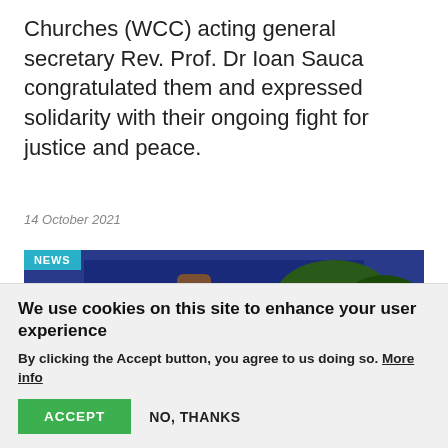Churches (WCC) acting general secretary Rev. Prof. Dr Ioan Sauca congratulated them and expressed solidarity with their ongoing fight for justice and peace.
14 October 2021
[Figure (photo): A crowd of protesters raising their fists in the air. A NEWS badge overlay appears in the top-left corner of the image.]
We use cookies on this site to enhance your user experience
By clicking the Accept button, you agree to us doing so. More info
ACCEPT   NO, THANKS